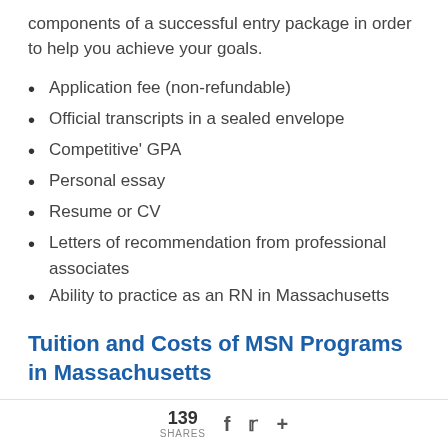components of a successful entry package in order to help you achieve your goals.
Application fee (non-refundable)
Official transcripts in a sealed envelope
Competitive' GPA
Personal essay
Resume or CV
Letters of recommendation from professional associates
Ability to practice as an RN in Massachusetts
Tuition and Costs of MSN Programs in Massachusetts
Fitchburg State University requires students to complete about 40 credit hours to be eligible for graduate degree status, as well as hundreds of
139 SHARES f 🐦 +